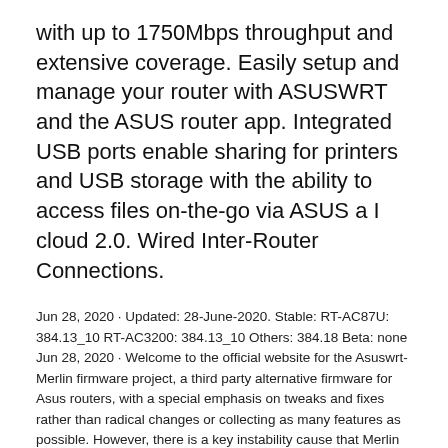with up to 1750Mbps throughput and extensive coverage. Easily setup and manage your router with ASUSWRT and the ASUS router app. Integrated USB ports enable sharing for printers and USB storage with the ability to access files on-the-go via ASUS a I cloud 2.0. Wired Inter-Router Connections.
Jun 28, 2020 · Updated: 28-June-2020. Stable: RT-AC87U: 384.13_10 RT-AC3200: 384.13_10 Others: 384.18 Beta: none Jun 28, 2020 · Welcome to the official website for the Asuswrt-Merlin firmware project, a third party alternative firmware for Asus routers, with a special emphasis on tweaks and fixes rather than radical changes or collecting as many features as possible. However, there is a key instability cause that Merlin addresses for the RT-N66U and RT-AC66U. ASUS enabled GRO (Generic Receive Offload) by default in early firmware